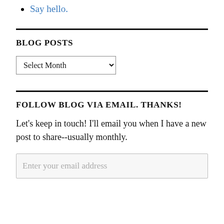Say hello.
BLOG POSTS
Select Month (dropdown)
FOLLOW BLOG VIA EMAIL. THANKS!
Let's keep in touch! I'll email you when I have a new post to share--usually monthly.
Enter your email address